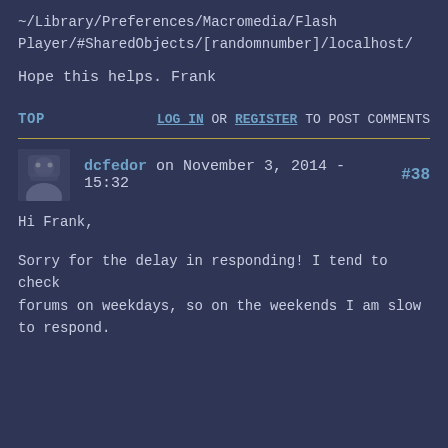~/Library/Preferences/Macromedia/Flash Player/#SharedObjects/[randomnumber]/localhost/
Hope this helps. Frank
TOP
LOG IN OR REGISTER TO POST COMMENTS
dcfedor on November 3, 2014 - 15:32 #38
Hi Frank,
Sorry for the delay in responding! I tend to check forums on weekdays, so on the weekends I am slow to respond.